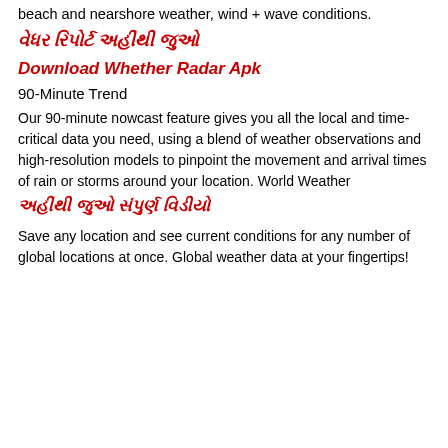beach and nearshore weather, wind + wave conditions.
વેધર રિપોર્ટ અહીંથી જુઓ
Download Whether Radar Apk
90-Minute Trend
Our 90-minute nowcast feature gives you all the local and time-critical data you need, using a blend of weather observations and high-resolution models to pinpoint the movement and arrival times of rain or storms around your location. World Weather
અહીંથી જુઓ સંપુર્ણ વિડીયો
Save any location and see current conditions for any number of global locations at once. Global weather data at your fingertips!